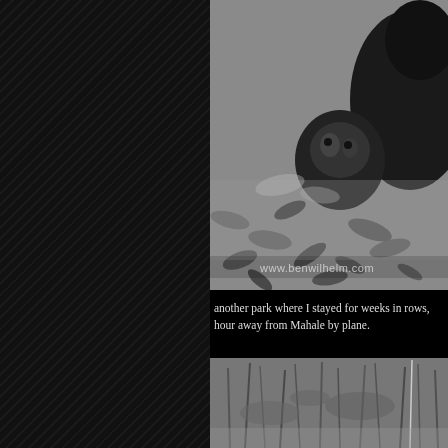[Figure (photo): Black and white photograph of chimpanzees on a forest floor covered with leaves, with watermark www.benwilhelm.com]
another park where I stayed for weeks in rows, hour away from Mahale by plane.
[Figure (photo): Black and white photograph of vegetation or forest undergrowth]